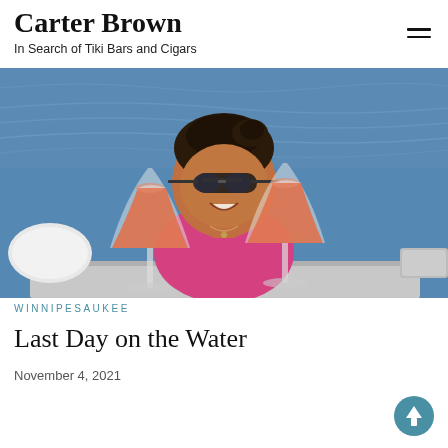Carter Brown
In Search of Tiki Bars and Cigars
[Figure (photo): A smiling woman with sunglasses and dark hair pulled up, leaning over a boat rail with two wine glasses filled with an orange/pink drink in the foreground, blue water in the background. She is wearing a pink bikini top.]
WINNIPESAUKEE
Last Day on the Water
November 4, 2021